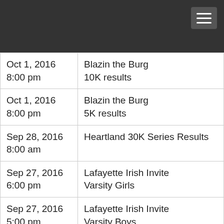| Date/Time | Event |
| --- | --- |
| Oct 1, 2016
8:00 pm | Blazin the Burg
10K results |
| Oct 1, 2016
8:00 pm | Blazin the Burg
5K results |
| Sep 28, 2016
8:00 am | Heartland 30K Series Results |
| Sep 27, 2016
6:00 pm | Lafayette Irish Invite
Varsity Girls |
| Sep 27, 2016
5:00 pm | Lafayette Irish Invite
Varsity Boys |
| Sep 27, 2016
6:00 pm | Lafayette Irish Invite
JV Boys Results |